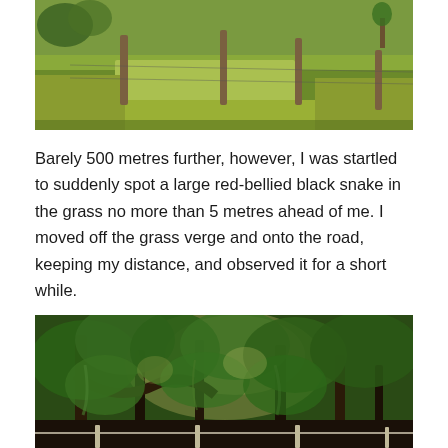[Figure (photo): Photograph of a green grassy paddock with wooden fence posts in a line, open farmland scene under bright daylight.]
Barely 500 metres further, however, I was startled to suddenly spot a large red-bellied black snake in the grass no more than 5 metres ahead of me. I moved off the grass verge and onto the road, keeping my distance, and observed it for a short while.
[Figure (photo): Photograph of a dense bush scene with large old trees, heavily vegetated with green foliage, sunlight filtering through the canopy, with a fence visible at the bottom.]